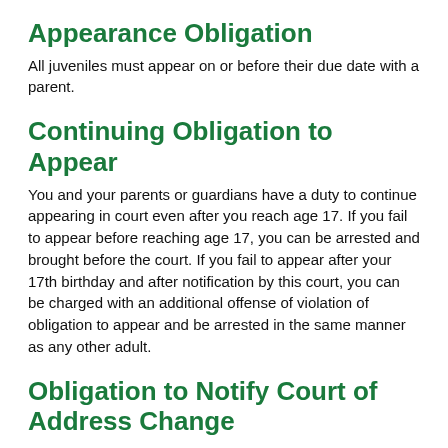Appearance Obligation
All juveniles must appear on or before their due date with a parent.
Continuing Obligation to Appear
You and your parents or guardians have a duty to continue appearing in court even after you reach age 17. If you fail to appear before reaching age 17, you can be arrested and brought before the court. If you fail to appear after your 17th birthday and after notification by this court, you can be charged with an additional offense of violation of obligation to appear and be arrested in the same manner as any other adult.
Obligation to Notify Court of Address Change
You and your parents or guardians have an obligation to inform the court in writing each time you change your address. You must notify the court within seven days of